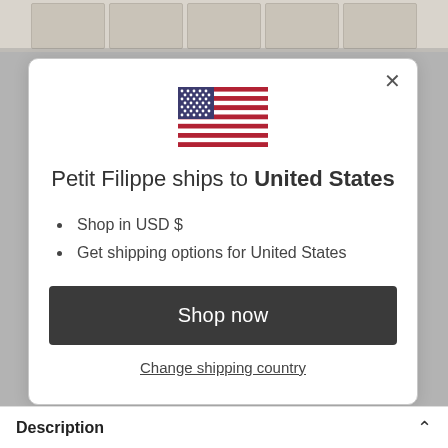[Figure (screenshot): Thumbnail strip of product images at top of page]
[Figure (illustration): US flag SVG icon centered in modal]
Petit Filippe ships to United States
Shop in USD $
Get shipping options for United States
Shop now
Change shipping country
Description